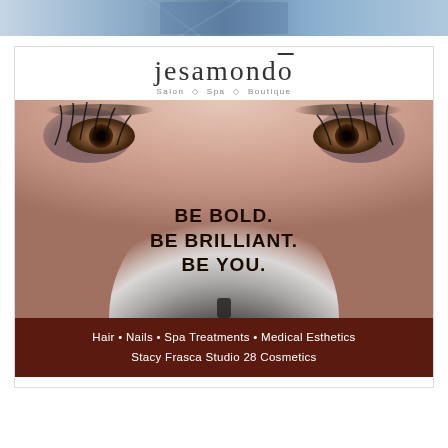[Figure (photo): Top banner image showing partial view of a product or graphic in blue/grey tones]
jesamondo
Salon · Spa · Boutique
[Figure (photo): Close-up of woman's eyes with dramatic smoky eye makeup and long lashes, with a large fan makeup brush covering the lower face. Text overlay reads: BE BOLD. BE BRILLIANT. BE YOU.]
Hair • Nails • Spa Treatments • Medical Esthetics
Stacy Frasca Studio 28 Cosmetics
154 East Central Street | Natick MA | 01760
508.907.7171 | www.jesamondo.com